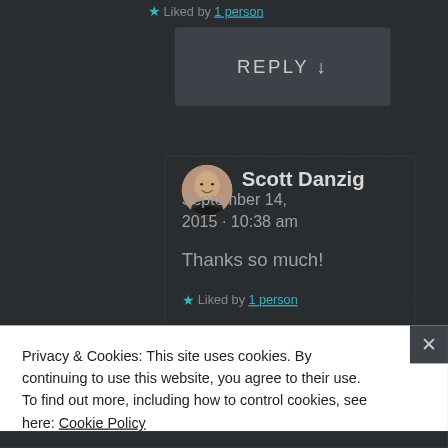★ Liked by 1 person
REPLY ↓
Scott Danzig
September 14, 2015 · 10:38 am
Thanks so much!
★ Liked by 1 person
Privacy & Cookies: This site uses cookies. By continuing to use this website, you agree to their use.
To find out more, including how to control cookies, see here: Cookie Policy
Close and accept